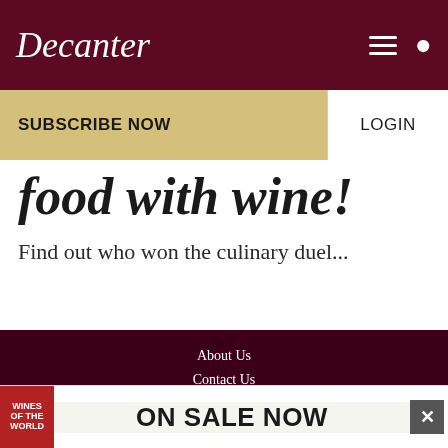Decanter
SUBSCRIBE NOW
LOGIN
food with wine!
Find out who won the culinary duel...
About Us
Contact Us
Advertise with Decanter and Decanter.com
Subscribe to Decanter
Decanter Premium
Decanter China
Privacy Settings
[Figure (other): Advertisement banner reading ON SALE NOW with Wines of the World book image]